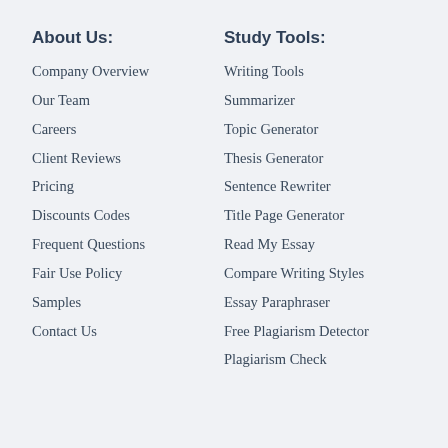About Us:
Company Overview
Our Team
Careers
Client Reviews
Pricing
Discounts Codes
Frequent Questions
Fair Use Policy
Samples
Contact Us
Study Tools:
Writing Tools
Summarizer
Topic Generator
Thesis Generator
Sentence Rewriter
Title Page Generator
Read My Essay
Compare Writing Styles
Essay Paraphraser
Free Plagiarism Detector
Plagiarism Check